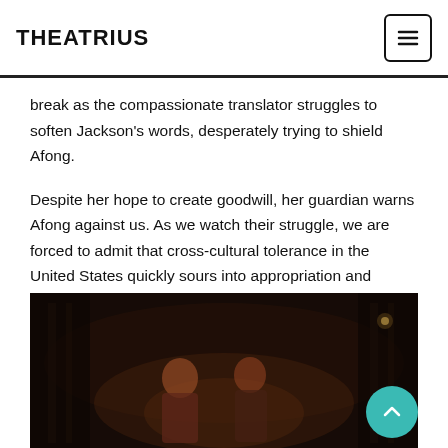THEATRIUS
break as the compassionate translator struggles to soften Jackson's words, desperately trying to shield Afong.
Despite her hope to create goodwill, her guardian warns Afong against us. As we watch their struggle, we are forced to admit that cross-cultural tolerance in the United States quickly sours into appropriation and cruelty. In San Francisco, 185 years later, we are still squirming in our seats.
[Figure (photo): A dark theatrical scene showing performers on stage with dramatic lighting and ornate set pieces.]